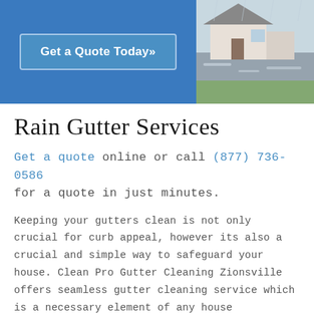[Figure (screenshot): Website banner with blue background on left showing 'Get a Quote Today»' button, and a photo of a rainy residential driveway/house on the right.]
Rain Gutter Services
Get a quote online or call (877) 736-0586 for a quote in just minutes.
Keeping your gutters clean is not only crucial for curb appeal, however its also a crucial and simple way to safeguard your house. Clean Pro Gutter Cleaning Zionsville offers seamless gutter cleaning service which is a necessary element of any house maintenance strategy and checklist. Keeping seamless gutters tidy and clear of particles keeps them operating properly. Clean rain gutters keep rain water far from your house and save you from sustaining d...